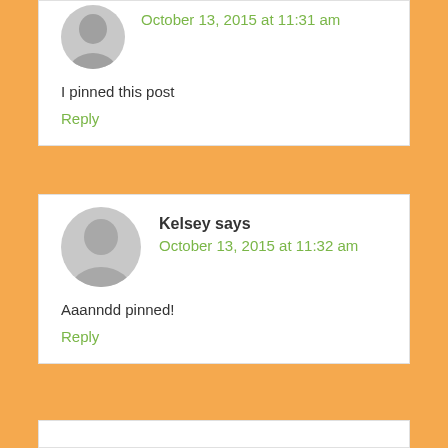October 13, 2015 at 11:31 am
I pinned this post
Reply
Kelsey says
October 13, 2015 at 11:32 am
Aaanndd pinned!
Reply